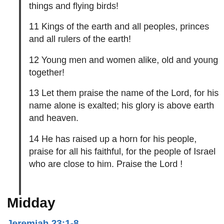things and flying birds!
11 Kings of the earth and all peoples, princes and all rulers of the earth!
12 Young men and women alike, old and young together!
13 Let them praise the name of the Lord, for his name alone is exalted; his glory is above earth and heaven.
14 He has raised up a horn for his people, praise for all his faithful, for the people of Israel who are close to him. Praise the Lord !
Midday
Jeremiah 23:1-8